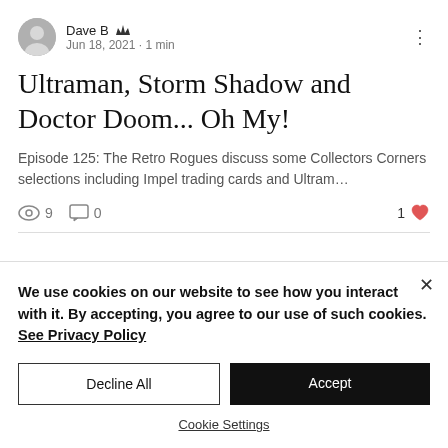Dave B · Jun 18, 2021 · 1 min
Ultraman, Storm Shadow and Doctor Doom... Oh My!
Episode 125: The Retro Rogues discuss some Collectors Corners selections including Impel trading cards and Ultram…
9 views   0 comments   1 like
We use cookies on our website to see how you interact with it. By accepting, you agree to our use of such cookies. See Privacy Policy
Decline All
Accept
Cookie Settings